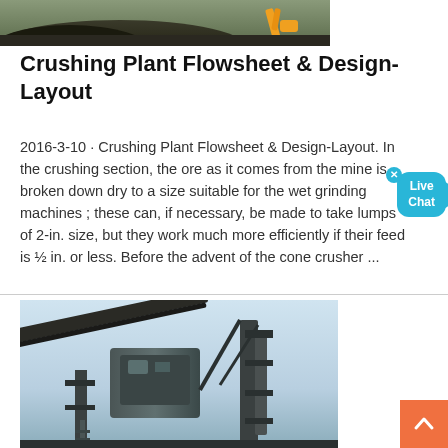[Figure (photo): Aerial/side view of a mining site with heavy machinery (excavator) and a large dark mound of ore/rock material, with yellow equipment visible on the right.]
Crushing Plant Flowsheet & Design-Layout
2016-3-10 · Crushing Plant Flowsheet & Design-Layout. In the crushing section, the ore as it comes from the mine is broken down dry to a size suitable for the wet grinding machines ; these can, if necessary, be made to take lumps of 2-in. size, but they work much more efficiently if their feed is ½ in. or less. Before the advent of the cone crusher ...
[Figure (photo): Industrial crushing plant equipment — conveyor belts, crushers, steel framework structures photographed from below against a light blue sky. Large mechanical equipment visible.]